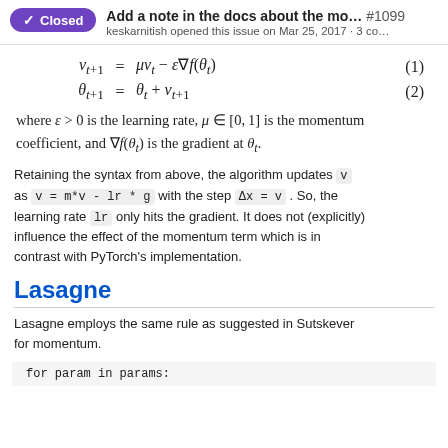Closed — Add a note in the docs about the mo... #1099
keskarnitish opened this issue on Mar 25, 2017 · 3 co...
where ε > 0 is the learning rate, μ ∈ [0, 1] is the momentum coefficient, and ∇f(θ_t) is the gradient at θ_t.
Retaining the syntax from above, the algorithm updates v as v = m*v - lr * g with the step Δx = v . So, the learning rate lr only hits the gradient. It does not (explicitly) influence the effect of the momentum term which is in contrast with PyTorch's implementation.
Lasagne
Lasagne employs the same rule as suggested in Sutskever for momentum.
for param in params: